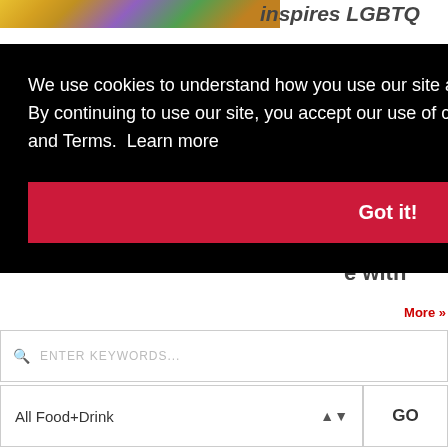[Figure (screenshot): Partially visible webpage with colorful image at top left and article headline 'inspires LGBTQ' visible at top right]
cakes
rds
e with
We use cookies to understand how you use our site and to improve your experience. By continuing to use our site, you accept our use of cookies, revised Privacy Policy and Terms.  Learn more
Got it!
ENTER KEYWORDS...
All Food+Drink
GO
More »
[Figure (screenshot): Aeropostale advertisement banner showing two female models, text '50-70% off Everything!' in red, 'AEROPOSTALE' brand name, and 'BUY NOW' button]